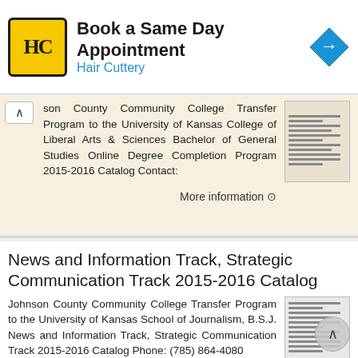[Figure (screenshot): Hair Cuttery advertisement banner with HC logo, 'Book a Same Day Appointment' headline, and blue arrow icon]
son County Community College Transfer Program to the University of Kansas College of Liberal Arts & Sciences Bachelor of General Studies Online Degree Completion Program 2015-2016 Catalog Contact:
More information ⊙
News and Information Track, Strategic Communication Track 2015-2016 Catalog
Johnson County Community College Transfer Program to the University of Kansas School of Journalism, B.S.J. News and Information Track, Strategic Communication Track 2015-2016 Catalog Phone: (785) 864-4080